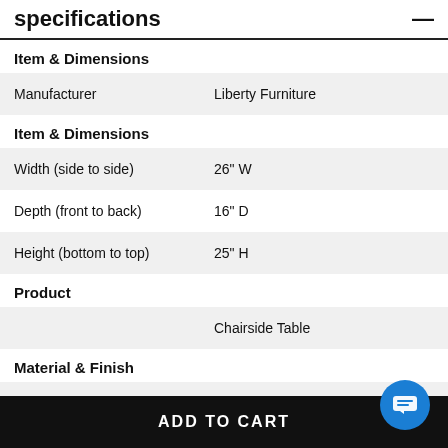specifications
|  |  |
| --- | --- |
| Item & Dimensions |  |
| Manufacturer | Liberty Furniture |
| Item & Dimensions |  |
| Width (side to side) | 26" W |
| Depth (front to back) | 16" D |
| Height (bottom to top) | 25" H |
| Product |  |
|  | Chairside Table |
| Material & Finish |  |
| Table Top Material | Wood |
| Composition | Wood Veneers & Solids |
ADD TO CART